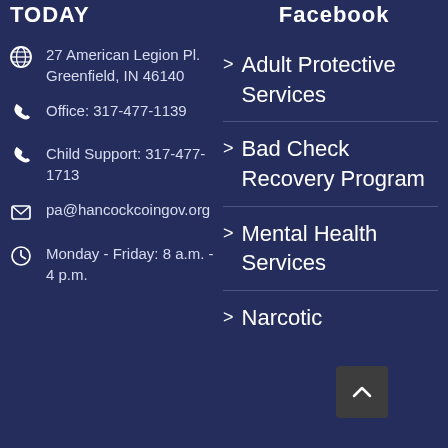TODAY    Facebook
27 American Legion Pl. Greenfield, IN 46140
Office: 317-477-1139
Child Support: 317-477-1713
pa@hancockcoingov.org
Monday - Friday: 8 a.m. - 4 p.m.
> Adult Protective Services
> Bad Check Recovery Program
> Mental Health Services
> Narcotic